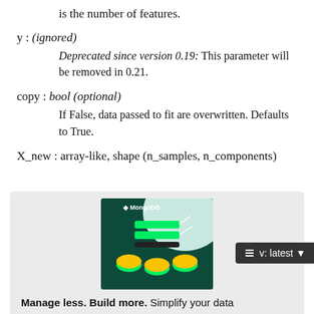is the number of features.
y : (ignored)
  Deprecated since version 0.19: This parameter will be removed in 0.21.
copy : bool (optional)
  If False, data passed to fit are overwritten. Defaults to True.
X_new : array-like, shape (n_samples, n_components)
[Figure (photo): MongoDB advertisement banner showing a 3D database diagram with green and yellow nodes, MongoDB logo, and text 'Manage less. Build more. Simplify your data...']